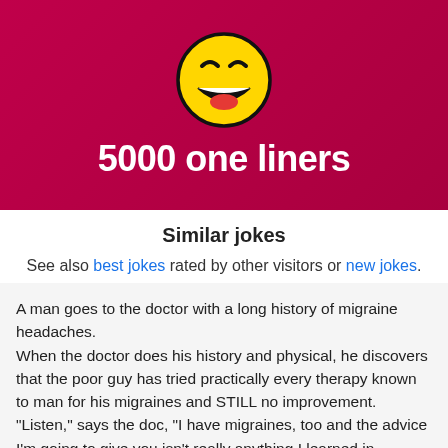[Figure (illustration): Red/crimson banner with a laughing emoji face (yellow circle, squinting eyes, open mouth with red tongue) and bold white text reading '5000 one liners']
Similar jokes
See also best jokes rated by other visitors or new jokes.
A man goes to the doctor with a long history of migraine headaches.
When the doctor does his history and physical, he discovers that the poor guy has tried practically every therapy known to man for his migraines and STILL no improvement.
"Listen," says the doc, "I have migraines, too and the advice I'm going to give you isn't really anything I learned in